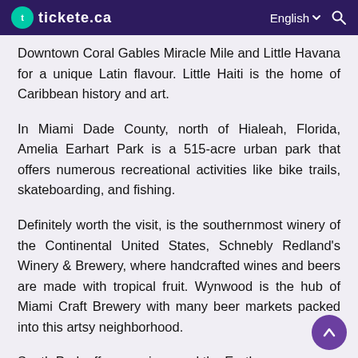tickete.ca  English  Search
Downtown Coral Gables Miracle Mile and Little Havana for a unique Latin flavour. Little Haiti is the home of Caribbean history and art.
In Miami Dade County, north of Hialeah, Florida, Amelia Earhart Park is a 515-acre urban park that offers numerous recreational activities like bike trails, skateboarding, and fishing.
Definitely worth the visit, is the southernmost winery of the Continental United States, Schnebly Redland's Winery & Brewery, where handcrafted wines and beers are made with tropical fruit. Wynwood is the hub of Miami Craft Brewery with many beer markets packed into this artsy neighborhood.
South Park offers ...